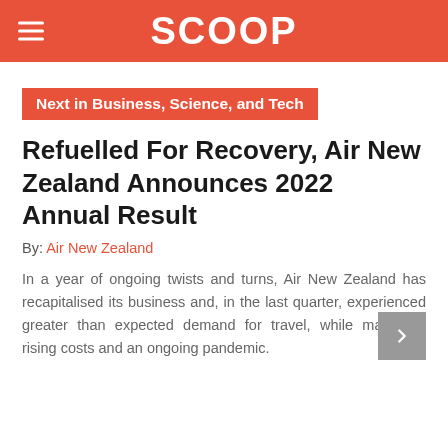SCOOP
Next in Business, Science, and Tech
Refuelled For Recovery, Air New Zealand Announces 2022 Annual Result
By: Air New Zealand
In a year of ongoing twists and turns, Air New Zealand has recapitalised its business and, in the last quarter, experienced greater than expected demand for travel, while managing rising costs and an ongoing pandemic.